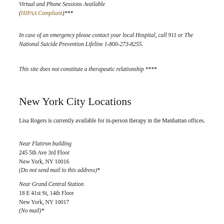Virtual and Phone Sessions Available
(HIPAA Compliant)***
In case of an emergency please contact your local Hospital, call 911 or The National Suicide Prevention Lifeline 1-800-273-8255.
This site does not constitute a therapeutic relationship ****
New York City Locations
Lisa Rogers is currently available for in-person therapy in the Manhattan offices.
Near Flatiron building
245 5th Ave 3rd Floor
New York, NY 10016
(Do not send mail to this address)*
Near Grand Central Station
18 E 41st St, 14th Floor
New York, NY 10017
(No mail)*